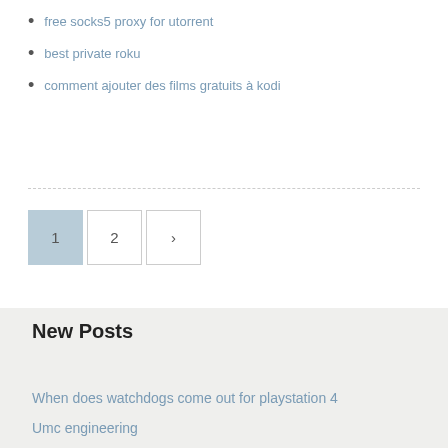free socks5 proxy for utorrent
best private roku
comment ajouter des films gratuits à kodi
[Figure (other): Pagination controls showing page 1 (active/highlighted), page 2, and a next arrow button]
New Posts
When does watchdogs come out for playstation 4
Umc engineering